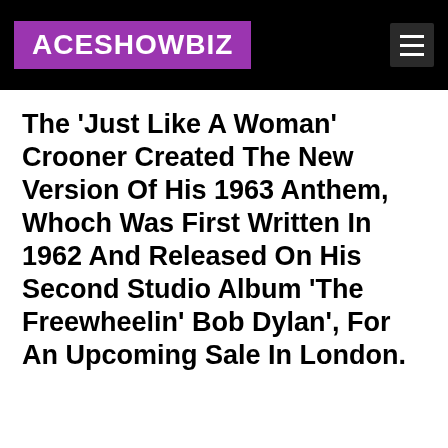ACESHOWBIZ
The 'Just Like A Woman' Crooner Created The New Version Of His 1963 Anthem, Whoch Was First Written In 1962 And Released On His Second Studio Album 'The Freewheelin' Bob Dylan', For An Upcoming Sale In London.